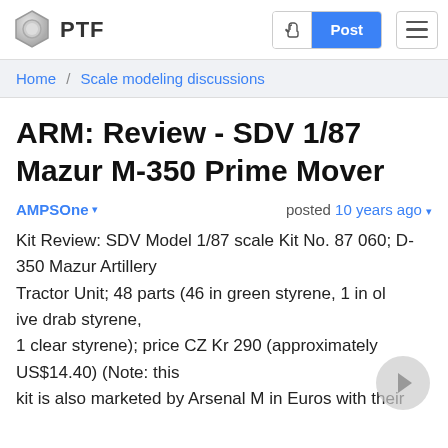PTF | Post
Home / Scale modeling discussions
ARM: Review - SDV 1/87 Mazur M-350 Prime Mover
AMPSOne ▾   posted 10 years ago ▾
Kit Review: SDV Model 1/87 scale Kit No. 87 060; D-350 Mazur Artillery Tractor Unit; 48 parts (46 in green styrene, 1 in olive drab styrene, 1 clear styrene); price CZ Kr 290 (approximately US$14.40) (Note: this kit is also marketed by Arsenal M in Euros with their